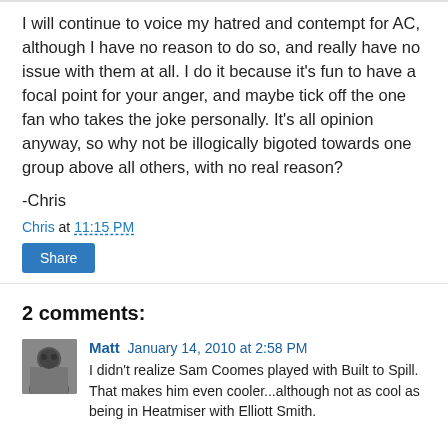I will continue to voice my hatred and contempt for AC, although I have no reason to do so, and really have no issue with them at all. I do it because it's fun to have a focal point for your anger, and maybe tick off the one fan who takes the joke personally. It's all opinion anyway, so why not be illogically bigoted towards one group above all others, with no real reason?
-Chris
Chris at 11:15 PM
Share
2 comments:
Matt January 14, 2010 at 2:58 PM
I didn't realize Sam Coomes played with Built to Spill. That makes him even cooler...although not as cool as being in Heatmiser with Elliott Smith.